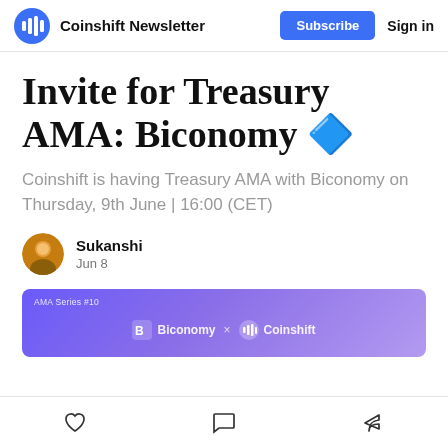Coinshift Newsletter | Subscribe | Sign in
Invite for Treasury AMA: Biconomy 🔷
Coinshift is having Treasury AMA with Biconomy on Thursday, 9th June | 16:00 (CET)
Sukanshi
Jun 8
[Figure (illustration): Banner with purple gradient background showing 'AMA Series #10' label and logos for Biconomy and Coinshift with an 'x' between them]
Like | Comment | Share